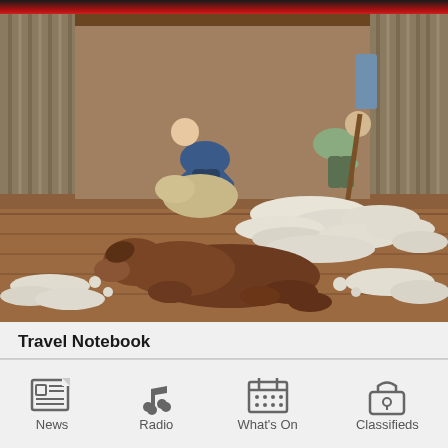[Figure (photo): Sheep shearing scene inside a barn/shed. In the background, two shearers are bent over working on sheep. In the foreground, a brown dog is lying on the wooden floor surrounded by piles of wool fleece. The floor is covered with clumps of white wool.]
Travel Notebook
[Figure (infographic): Navigation bar with four icons: News (newspaper icon), Radio (music note icon), What's On (calendar icon), Classifieds (padlock/bag icon)]